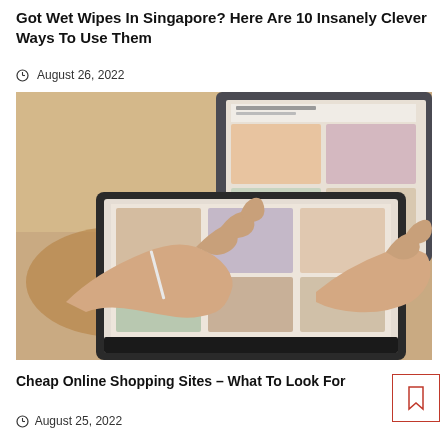Got Wet Wipes In Singapore? Here Are 10 Insanely Clever Ways To Use Them
August 26, 2022
[Figure (photo): Person's hands typing or browsing on a tablet showing a shopping website, with a laptop and wooden table in the background.]
Cheap Online Shopping Sites – What To Look For
August 25, 2022